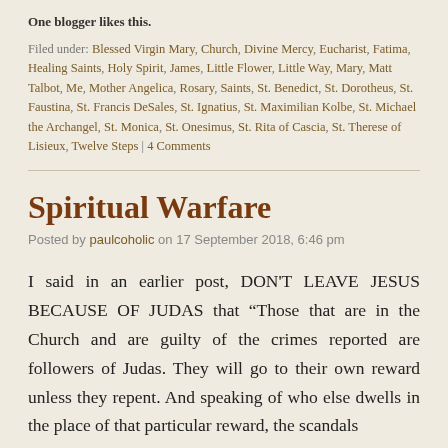One blogger likes this.
Filed under: Blessed Virgin Mary, Church, Divine Mercy, Eucharist, Fatima, Healing Saints, Holy Spirit, James, Little Flower, Little Way, Mary, Matt Talbot, Me, Mother Angelica, Rosary, Saints, St. Benedict, St. Dorotheus, St. Faustina, St. Francis DeSales, St. Ignatius, St. Maximilian Kolbe, St. Michael the Archangel, St. Monica, St. Onesimus, St. Rita of Cascia, St. Therese of Lisieux, Twelve Steps | 4 Comments
Spiritual Warfare
Posted by paulcoholic on 17 September 2018, 6:46 pm
I said in an earlier post, DON'T LEAVE JESUS BECAUSE OF JUDAS that “Those that are in the Church and are guilty of the crimes reported are followers of Judas. They will go to their own reward unless they repent. And speaking of who else dwells in the place of that particular reward, the scandals
...